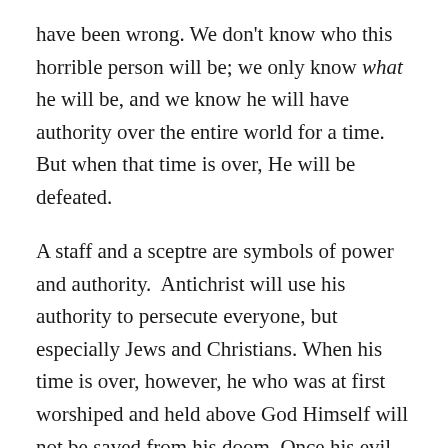have been wrong. We don't know who this horrible person will be; we only know what he will be, and we know he will have authority over the entire world for a time. But when that time is over, He will be defeated.
A staff and a sceptre are symbols of power and authority.  Antichrist will use his authority to persecute everyone, but especially Jews and Christians. When his time is over, however, he who was at first worshiped and held above God Himself will not be saved from his doom. Once his evil nature is fully revealed, no one at all, not even his closest associates, will try to defend him.
He will stand alone and hopeless before Almighty God.